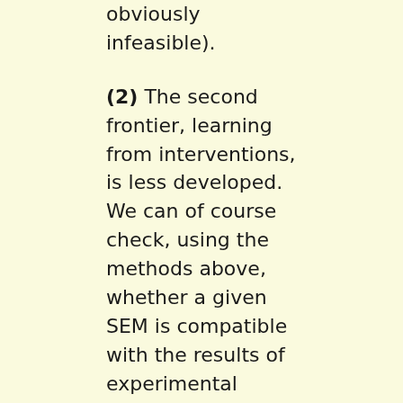obviously infeasible).
(2) The second frontier, learning from interventions, is less developed. We can of course check, using the methods above, whether a given SEM is compatible with the results of experimental studies (Causality, Def.1.3.1). We can also determine the structure of an SEM